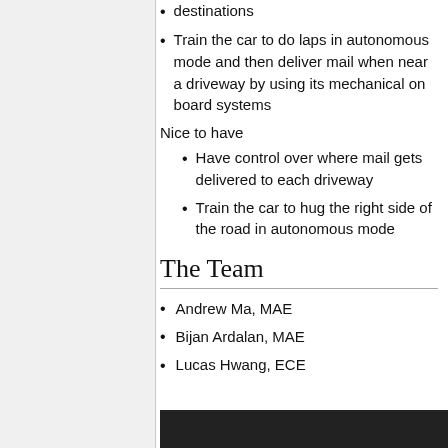destinations
Train the car to do laps in autonomous mode and then deliver mail when near a driveway by using its mechanical on board systems
Nice to have
Have control over where mail gets delivered to each driveway
Train the car to hug the right side of the road in autonomous mode
The Team
Andrew Ma, MAE
Bijan Ardalan, MAE
Lucas Hwang, ECE
[Figure (photo): Dark photo strip at the bottom of the page showing part of a team photo]